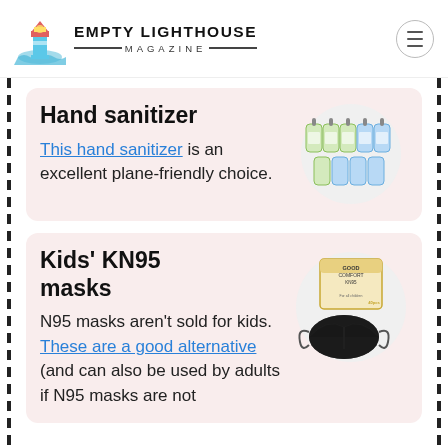EMPTY LIGHTHOUSE MAGAZINE
Hand sanitizer
This hand sanitizer is an excellent plane-friendly choice.
[Figure (photo): Multiple small hand sanitizer bottles with clip hooks arranged in a circular layout]
Kids’ KN95 masks
N95 masks aren’t sold for kids. These are a good alternative (and can also be used by adults if N95 masks are not
[Figure (photo): Box of Good Comfort KN95 kids masks and a black KN95 mask displayed in a circular frame]